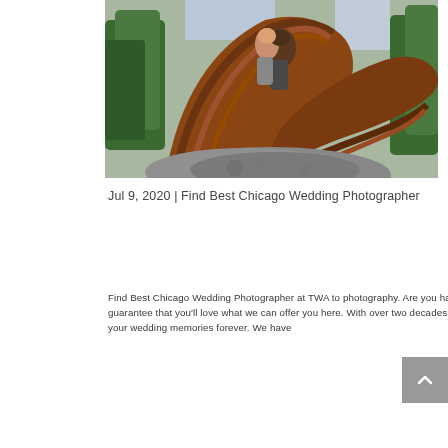[Figure (photo): An engaged or married couple posing on a large abstract metal sculpture outdoors, surrounded by trees. The photo is taken from a low angle looking up at the couple who are close together, kissing or about to kiss.]
Jul 9, 2020 | Find Best Chicago Wedding Photographer
Find Best Chicago Wedding Photographer at TWA to photography. Are you having a Chicago wedding? If you're looking for a great way to capture your special day in the Windy City, we guarantee that you'll love what we can offer you here. With over two decades of experience, we promise that we are able to provide you with a beautiful way to hold onto your special day and your wedding memories forever. We have